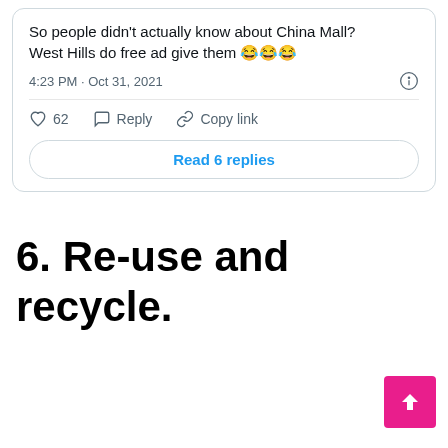[Figure (screenshot): A tweet card showing text: 'So people didn't actually know about China Mall? West Hills do free ad give them 😂😂😂' posted at 4:23 PM · Oct 31, 2021, with 62 likes, Reply and Copy link actions, and a 'Read 6 replies' button.]
6. Re-use and recycle.